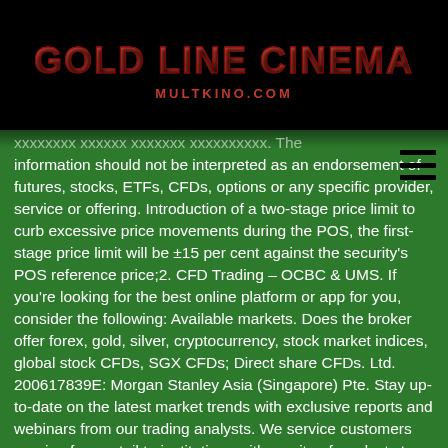GOLD LINE CINEMA
MULTKINO.COM
information should not be interpreted as an endorsement of futures, stocks, ETFs, CFDs, options or any specific provider, service or offering. Introduction of a two-stage price limit to curb excessive price movements during the POS, the first-stage price limit will be ±15 per cent against the security's POS reference price;2. CFD Trading – OCBC & UMS. If you're looking for the best online platform or app for you, consider the following: Available markets. Does the broker offer forex, gold, silver, cryptocurrency, stock market indices, global stock CFDs, SGX CFDs; Direct share CFDs. Ltd. 200617839E: Morgan Stanley Asia (Singapore) Pte. Stay up-to-date on the latest market trends with exclusive reports and webinars from our trading analysts. We service customers ranging from retail to institutions with a suite of products to choose from. The CFD broker you chose will very much depend on your trading style and what instruments or assets you prefer to use. Fixed Deposits, Fund